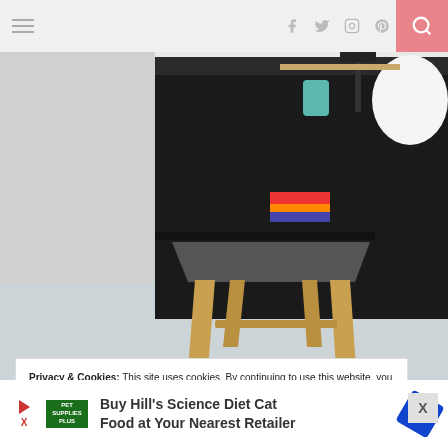Navigation header with hamburger menu, social icons (facebook, twitter, instagram, pinterest), and search button
[Figure (photo): A wooden stool with grey upholstered seat in front of a black cabinet/sideboard with decorative items on top (lamp, vase, teal glass) and colorful books/magazines in a slot. The stool has four splayed natural wood legs. Set against a light blue-grey floor.]
Privacy & Cookies: This site uses cookies. By continuing to use this website, you agree to their use.
To find out more, including how to control cookies, see here: Cookie Policy
Buy Hill's Science Diet Cat Food at Your Nearest Retailer